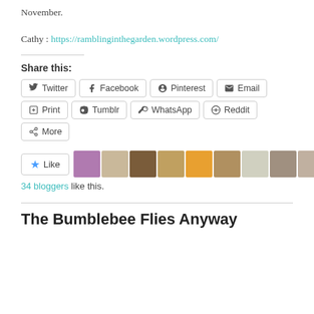November.
Cathy : https://ramblinginthegarden.wordpress.com/
Share this:
Twitter | Facebook | Pinterest | Email | Print | Tumblr | WhatsApp | Reddit | More
[Figure (other): Like button and 10 blogger avatars, 34 bloggers like this.]
The Bumblebee Flies Anyway